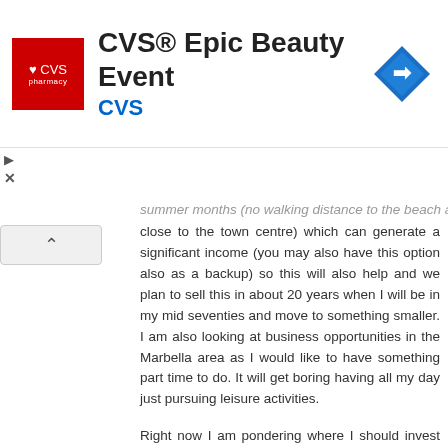[Figure (logo): CVS Pharmacy advertisement banner showing CVS logo, text 'CVS® Epic Beauty Event' and blue navigation arrow icon]
summer months (no walking distance to the beach and close to the town centre) which can generate a significant income (you may also have this option also as a backup) so this will also help and we plan to sell this in about 20 years when I will be in my mid seventies and move to something smaller. I am also looking at business opportunities in the Marbella area as I would like to have something part time to do. It will get boring having all my day just pursuing leisure activities.
Right now I am pondering where I should invest the rest of our funds that are coming from some property sales. I wanted to ask where you plan (country/company) to hold your funds during retirement and how you plan to manage any currency risk during the drawdown period should you have everything in GBP. Also any tips on reducing taxes would also be appreciated. Spain is not such a great place for taxes unfortunately.